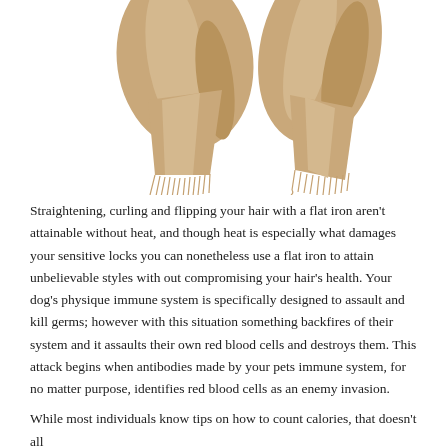[Figure (photo): Photo of two beige/tan fabric scarves or shawls with fringed edges against a white background, hanging/draped with fringes visible at the bottom.]
Straightening, curling and flipping your hair with a flat iron aren't attainable without heat, and though heat is especially what damages your sensitive locks you can nonetheless use a flat iron to attain unbelievable styles with out compromising your hair's health. Your dog's physique immune system is specifically designed to assault and kill germs; however with this situation something backfires of their system and it assaults their own red blood cells and destroys them. This attack begins when antibodies made by your pets immune system, for no matter purpose, identifies red blood cells as an enemy invasion.
While most individuals know tips on how to count calories, that doesn't all